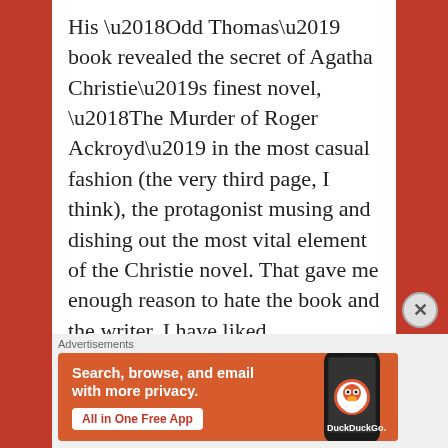His ‘Odd Thomas’ book revealed the secret of Agatha Christie’s finest novel, ‘The Murder of Roger Ackroyd’ in the most casual fashion (the very third page, I think), the protagonist musing and dishing out the most vital element of the Christie novel. That gave me enough reason to hate the book and the writer. I have liked Koontz’s ‘Intensity’ and ‘Dragon Tears’ however. May be these mistakes come from churning out too much fiction over the years – quantity
[Figure (other): DuckDuckGo advertisement banner with text: Search, browse, and email with more privacy. All in One Free App. Shows a smartphone with the DuckDuckGo app logo.]